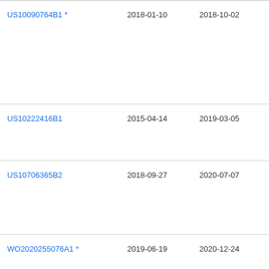| Patent | Filed | Published | Assignee |
| --- | --- | --- | --- |
| US10090764B1 * | 2018-01-10 | 2018-10-02 | Nat Tec Eng Sol San |
| US10222416B1 | 2015-04-14 | 2019-03-05 | Hyp |
| US10706365B2 | 2018-09-27 | 2020-07-07 | Inte Bus Ma Con |
| WO2020255076A1 * | 2019-06-19 | 2020-12-24 | 1Qi Tec |